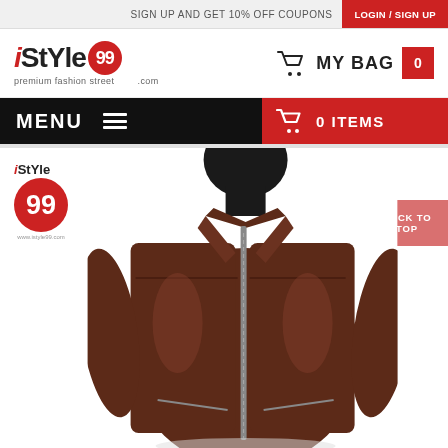SIGN UP AND GET 10% OFF COUPONS | LOGIN / SIGN UP
[Figure (logo): iStYle99 premium fashion street .com logo with red circle containing '99']
MY BAG  0
MENU  0 ITEMS
[Figure (photo): Dark maroon/brown leather jacket on a headless mannequin, front zipper visible, against white background]
[Figure (logo): iStYle 99 watermark logo with red circle]
BACK TO TOP